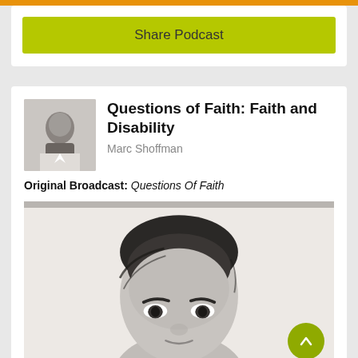[Figure (other): Orange top bar UI element]
Share Podcast
Questions of Faith: Faith and Disability
Marc Shoffman
Original Broadcast: Questions Of Faith
[Figure (photo): Black and white close-up portrait photo of a man with dark hair looking at camera]